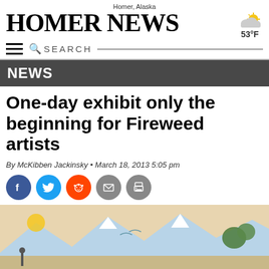Homer, Alaska
Homer News
[Figure (other): Weather icon showing partly cloudy with sun, temperature 53°F]
NEWS
One-day exhibit only the beginning for Fireweed artists
By McKibben Jackinsky • March 18, 2013 5:05 pm
[Figure (other): Social media sharing buttons: Facebook, Twitter, Reddit, Email, Print]
[Figure (photo): Partial view of a colorful illustrated artwork showing mountains, sun, birds, and decorative elements]